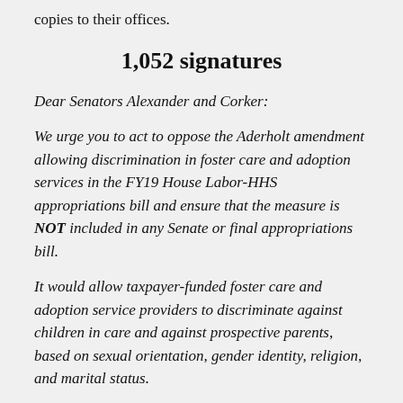copies to their offices.
1,052 signatures
Dear Senators Alexander and Corker:
We urge you to act to oppose the Aderholt amendment allowing discrimination in foster care and adoption services in the FY19 House Labor-HHS appropriations bill and ensure that the measure is NOT included in any Senate or final appropriations bill.
It would allow taxpayer-funded foster care and adoption service providers to discriminate against children in care and against prospective parents, based on sexual orientation, gender identity, religion, and marital status.
The measure breaks the cardinal rule of child welfare services: to act in the best interest of the child. This amendment would actually HARM CHILDREN